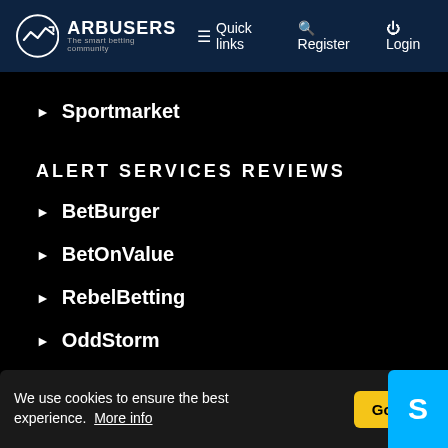ARBUSERS The smart betting community | Quick links | Register | Login
Sportmarket
ALERT SERVICES REVIEWS
BetBurger
BetOnValue
RebelBetting
OddStorm
Arbmate
EWALLETS REVIEWS
We use cookies to ensure the best experience. More info
Got it!